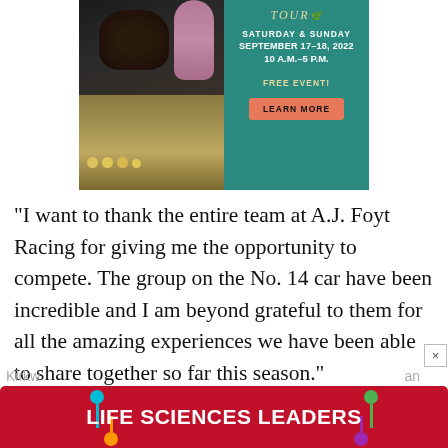[Figure (photo): Advertisement banner with photo of farm animals (pigs/chicks on straw) on the left half and teal background on the right with event info: SATURDAY & SUNDAY SEPTEMBER 17-18, 2022 10 A.M.-5 P.M. FREE EVENT! LEARN MORE button]
“I want to thank the entire team at A.J. Foyt Racing for giving me the opportunity to compete. The group on the No. 14 car have been incredible and I am beyond grateful to them for all the amazing experiences we have been able to share together so far this season.”
[Figure (infographic): Red banner advertisement reading LIFE SCIENCES LEADERS with decorative dot elements on each side and partial text 'Kirkw' on left and 'an' on right]